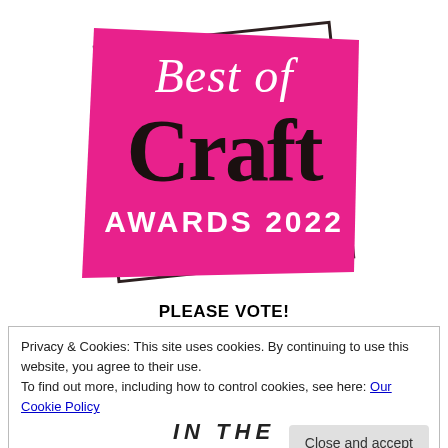[Figure (logo): Best of Craft Awards 2022 logo — hot pink parallelogram badge with white and dark text, overlapping a dark-outlined white rectangle tilted at a slight angle.]
PLEASE VOTE!
Privacy & Cookies: This site uses cookies. By continuing to use this website, you agree to their use.
To find out more, including how to control cookies, see here: Our Cookie Policy
Close and accept
IN THE